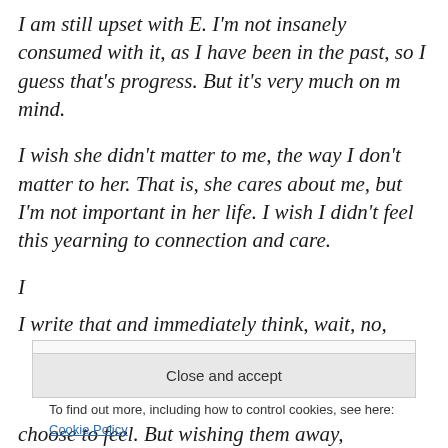I am still upset with E. I'm not insanely consumed with it, as I have been in the past, so I guess that's progress. But it's very much on m mind.
I wish she didn't matter to me, the way I don't matter to her. That is, she cares about me, but I'm not important in her life. I wish I didn't feel this yearning to connection and care.
I write that and immediately think, wait, no, that's...
Privacy & Cookies: This site uses cookies. By continuing to use this website, you agree to their use.
To find out more, including how to control cookies, see here: Cookie Policy
Close and accept
choose to feel. But wishing them away, repressing